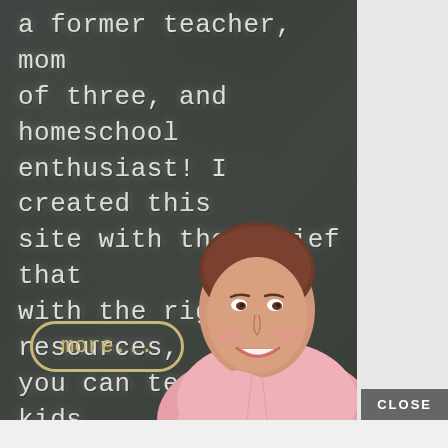[Figure (photo): A chalkboard background with white chalk-written text reading 'a former teacher, mom of three, and homeschool enthusiast! I created this site with the belief that with the right resources, you can teach your kids and still hold on to their natural love of learning.' with a 'more...' button in an oval shape, and a smiling woman in a pink shirt overlaid on the lower right of the chalkboard.]
CLOSE